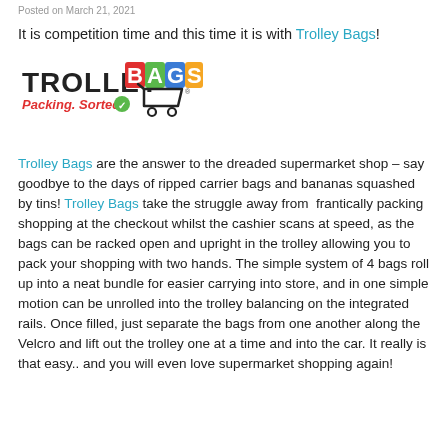Posted on March 21, 2021
It is competition time and this time it is with Trolley Bags!
[Figure (logo): Trolley Bags logo with shopping cart graphic and tagline 'Packing. Sorted']
Trolley Bags are the answer to the dreaded supermarket shop – say goodbye to the days of ripped carrier bags and bananas squashed by tins! Trolley Bags take the struggle away from frantically packing shopping at the checkout whilst the cashier scans at speed, as the bags can be racked open and upright in the trolley allowing you to pack your shopping with two hands. The simple system of 4 bags roll up into a neat bundle for easier carrying into store, and in one simple motion can be unrolled into the trolley balancing on the integrated rails. Once filled, just separate the bags from one another along the Velcro and lift out the trolley one at a time and into the car. It really is that easy.. and you will even love supermarket shopping again!